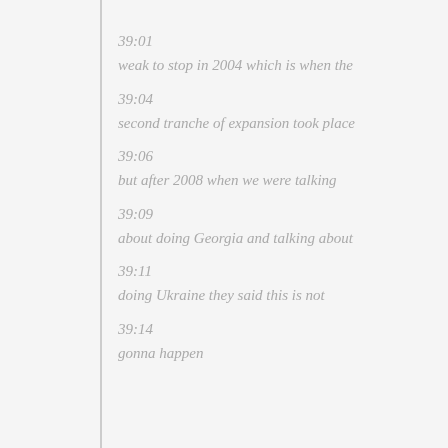39:01
weak to stop in 2004 which is when the
39:04
second tranche of expansion took place
39:06
but after 2008 when we were talking
39:09
about doing Georgia and talking about
39:11
doing Ukraine they said this is not
39:14
gonna happen